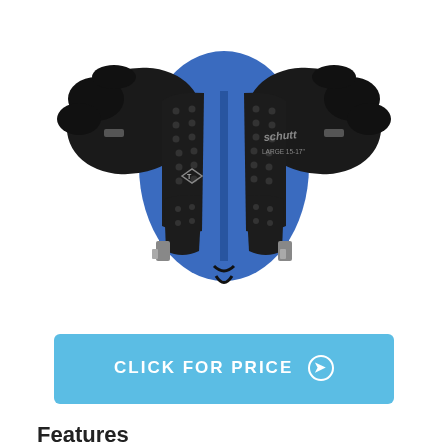[Figure (photo): Schutt TI Flex football shoulder pads shown from the front/back view, black with blue padding visible, labeled LARGE 15-17"]
CLICK FOR PRICE →
Features